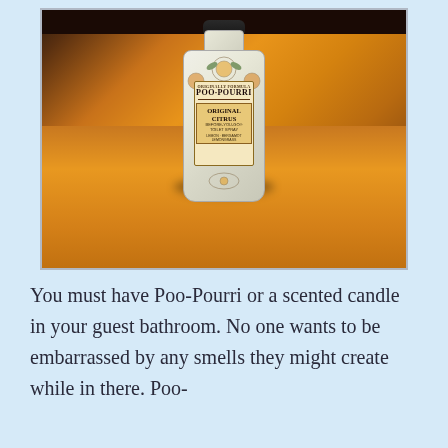[Figure (photo): A bottle of Poo-Pourri Original Citrus Before-You-Go Toilet Spray sitting on a wooden surface. The white ceramic-style bottle has decorative illustrations and a black cap, with an orange label in the center.]
You must have Poo-Pourri or a scented candle in your guest bathroom. No one wants to be embarrassed by any smells they might create while in there. Poo-Pourri or a fresh-burning...